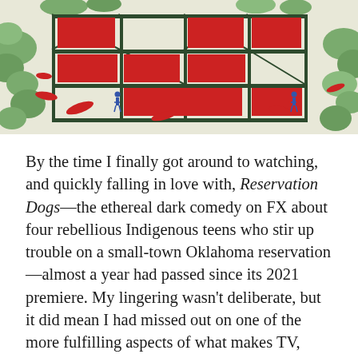[Figure (illustration): An illustration showing a scaffolding or construction-like structure with red geometric shapes on a light green/beige background. Small human figures and red bird/leaf shapes are scattered around the structure. Green organic blob shapes frame the edges.]
By the time I finally got around to watching, and quickly falling in love with, Reservation Dogs—the ethereal dark comedy on FX about four rebellious Indigenous teens who stir up trouble on a small-town Oklahoma reservation—almost a year had passed since its 2021 premiere. My lingering wasn't deliberate, but it did mean I had missed out on one of the more fulfilling aspects of what makes TV, especially a trinket of a show like Reservation Dogsall the more appointment-worthy in this piggish age of streaming: the opportunity to